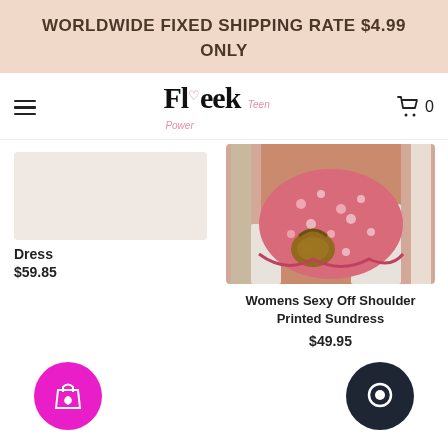WORLDWIDE FIXED SHIPPING RATE $4.99 ONLY
[Figure (logo): Fleek Teen Power logo with heart icon]
Dress
$59.85
[Figure (photo): Woman wearing pink floral printed sundress holding a wicker bag]
Womens Sexy Off Shoulder Printed Sundress
$49.95
[Figure (illustration): Pink circular icon with shopping bag and heart symbol]
[Figure (illustration): Dark circular chat/message icon]